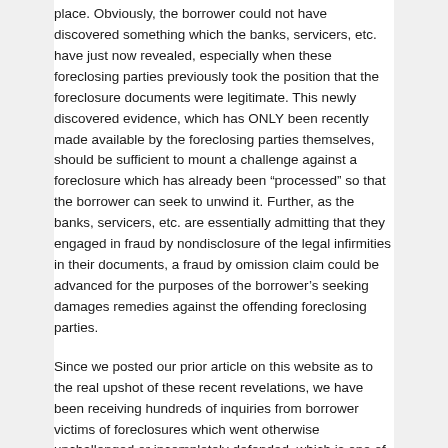place. Obviously, the borrower could not have discovered something which the banks, servicers, etc. have just now revealed, especially when these foreclosing parties previously took the position that the foreclosure documents were legitimate. This newly discovered evidence, which has ONLY been recently made available by the foreclosing parties themselves, should be sufficient to mount a challenge against a foreclosure which has already been “processed” so that the borrower can seek to unwind it. Further, as the banks, servicers, etc. are essentially admitting that they engaged in fraud by nondisclosure of the legal infirmities in their documents, a fraud by omission claim could be advanced for the purposes of the borrower’s seeking damages remedies against the offending foreclosing parties.
Since we posted our prior article on this website as to the real upshot of these recent revelations, we have been receiving hundreds of inquiries from borrower victims of foreclosures which went otherwise unchallenged or incompletely defended, which is one of the reasons which